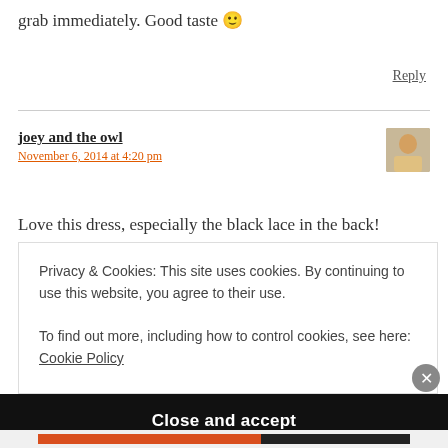grab immediately. Good taste 🙂
Reply
joey and the owl
November 6, 2014 at 4:20 pm
Love this dress, especially the black lace in the back!
Privacy & Cookies: This site uses cookies. By continuing to use this website, you agree to their use.
To find out more, including how to control cookies, see here: Cookie Policy
Close and accept